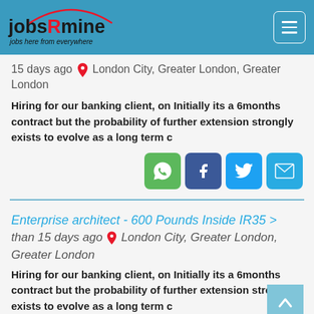[Figure (logo): jobsRmine logo with tagline 'jobs here from everywhere' on a teal header bar with hamburger menu icon]
15 days ago  London City, Greater London, Greater London
Hiring for our banking client, on Initially its a 6months contract but the probability of further extension strongly exists to evolve as a long term c
[Figure (infographic): Four share buttons: WhatsApp (green), Facebook (dark blue), Twitter (light blue), Email (light blue)]
Enterprise architect - 600 Pounds Inside IR35 > than 15 days ago  London City, Greater London, Greater London
Hiring for our banking client, on Initially its a 6months contract but the probability of further extension strongly exists to evolve as a long term c
[Figure (infographic): Four share buttons: WhatsApp (green), Facebook (dark blue), Twitter (light blue), Email (light blue); plus scroll-to-top button]